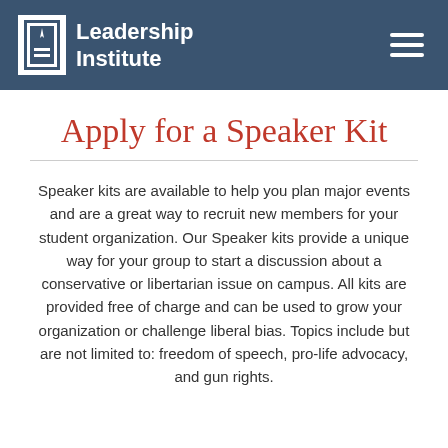Leadership Institute
Apply for a Speaker Kit
Speaker kits are available to help you plan major events and are a great way to recruit new members for your student organization. Our Speaker kits provide a unique way for your group to start a discussion about a conservative or libertarian issue on campus. All kits are provided free of charge and can be used to grow your organization or challenge liberal bias. Topics include but are not limited to: freedom of speech, pro-life advocacy, and gun rights.